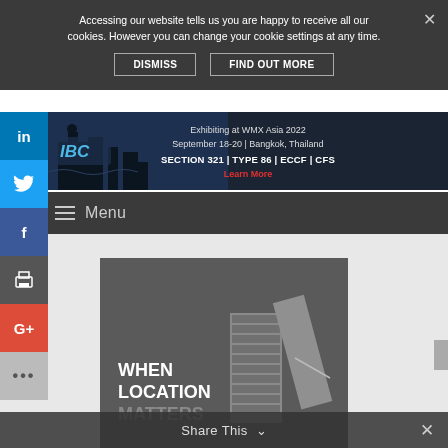Accessing our website tells us you are happy to receive all our cookies. However you can change your cookie settings at any time.
DISMISS | FIND OUT MORE
[Figure (screenshot): IBC promotional banner for WMX Asia 2022, September 18-20 Bangkok Thailand, Section 321 | Type 86 | ECCF | CFS, Learn More button]
Menu
Advertisement
[Figure (screenshot): Advertisement image with dark background and text WHEN LOCATION MATTERS with locker/kiosk graphics]
Share This